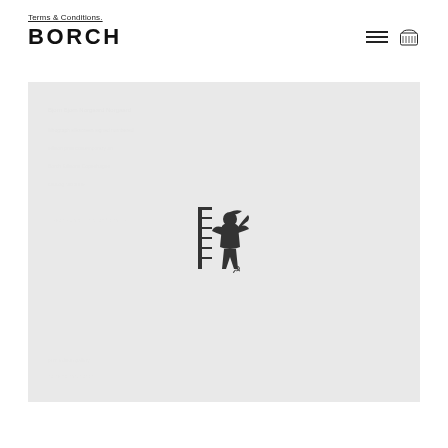Terms & Conditions.
BORCH
[Figure (illustration): Large light grey rectangular image area showing a faint, blurred artwork background with a small dark figurative illustration centered — depicting a person (figure) with a hammer and sickle symbol, resembling a Soviet-era style graphic, positioned in the center of the image area.]